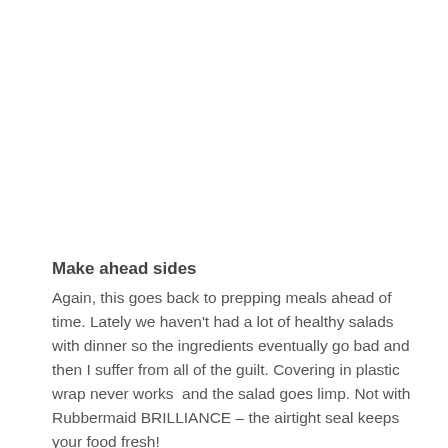Make ahead sides
Again, this goes back to prepping meals ahead of time. Lately we haven't had a lot of healthy salads with dinner so the ingredients eventually go bad and then I suffer from all of the guilt. Covering in plastic wrap never works  and the salad goes limp. Not with Rubbermaid BRILLIANCE – the airtight seal keeps your food fresh!